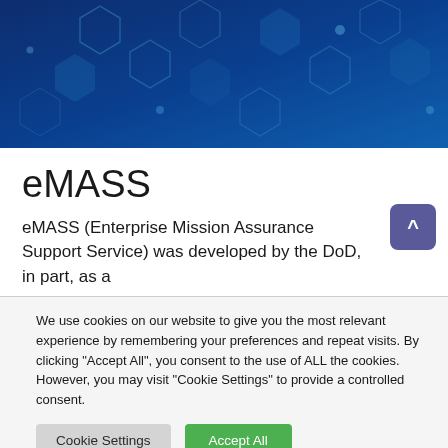[Figure (illustration): Dark blue banner with hexagonal network/technology pattern in lighter blue tones]
eMASS
eMASS (Enterprise Mission Assurance Support Service) was developed by the DoD, in part, as a
We use cookies on our website to give you the most relevant experience by remembering your preferences and repeat visits. By clicking "Accept All", you consent to the use of ALL the cookies. However, you may visit "Cookie Settings" to provide a controlled consent.